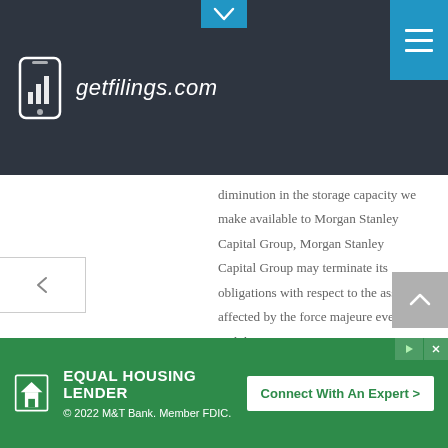getfilings.com
diminution in the storage capacity we make available to Morgan Stanley Capital Group, Morgan Stanley Capital Group may terminate its obligations with respect to the asset affected by the force majeure event and their minimum revenue commitment would be reduced proportionately for the duration of the agreement.
Barge dock services agreement—Baton Rouge dock. Effective May 2013, we
[Figure (other): Equal Housing Lender ad banner: EQUAL HOUSING LENDER © 2022 M&T Bank. Member FDIC. Connect With An Expert >]